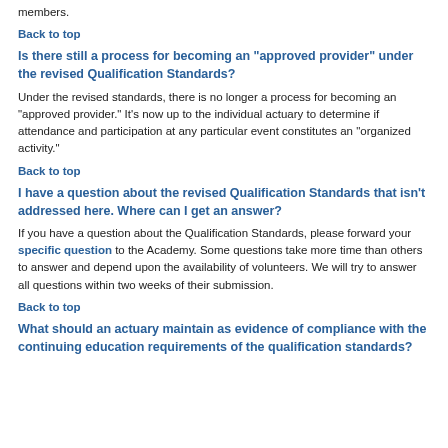members.
Back to top
Is there still a process for becoming an "approved provider" under the revised Qualification Standards?
Under the revised standards, there is no longer a process for becoming an "approved provider." It's now up to the individual actuary to determine if attendance and participation at any particular event constitutes an "organized activity."
Back to top
I have a question about the revised Qualification Standards that isn't addressed here. Where can I get an answer?
If you have a question about the Qualification Standards, please forward your specific question to the Academy. Some questions take more time than others to answer and depend upon the availability of volunteers. We will try to answer all questions within two weeks of their submission.
Back to top
What should an actuary maintain as evidence of compliance with the continuing education requirements of the qualification standards?